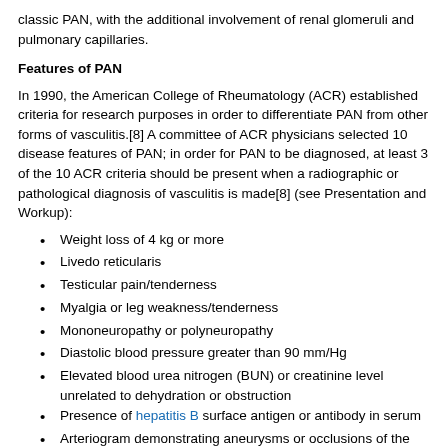classic PAN, with the additional involvement of renal glomeruli and pulmonary capillaries.
Features of PAN
In 1990, the American College of Rheumatology (ACR) established criteria for research purposes in order to differentiate PAN from other forms of vasculitis.[8] A committee of ACR physicians selected 10 disease features of PAN; in order for PAN to be diagnosed, at least 3 of the 10 ACR criteria should be present when a radiographic or pathological diagnosis of vasculitis is made[8] (see Presentation and Workup):
Weight loss of 4 kg or more
Livedo reticularis
Testicular pain/tenderness
Myalgia or leg weakness/tenderness
Mononeuropathy or polyneuropathy
Diastolic blood pressure greater than 90 mm/Hg
Elevated blood urea nitrogen (BUN) or creatinine level unrelated to dehydration or obstruction
Presence of hepatitis B surface antigen or antibody in serum
Arteriogram demonstrating aneurysms or occlusions of the visceral arteries
Presence of polymorphonuclear neutrophils in a biopsy specimen from a small- or medium-sized artery
The strong association of MPA with ANCA, as well as the pathologic and clinical differences between MPA and PAN, demonstrate that PAN and MPA are likely separate disorders. It was not until 1994 that histologic criteria to distinguish PAN from MPA were defined at the international Chapel Hill